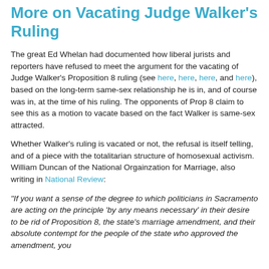More on Vacating Judge Walker's Ruling
The great Ed Whelan had documented how liberal jurists and reporters have refused to meet the argument for the vacating of Judge Walker's Proposition 8 ruling (see here, here, here, and here), based on the long-term same-sex relationship he is in, and of course was in, at the time of his ruling. The opponents of Prop 8 claim to see this as a motion to vacate based on the fact Walker is same-sex attracted.
Whether Walker's ruling is vacated or not, the refusal is itself telling, and of a piece with the totalitarian structure of homosexual activism. William Duncan of the National Orgainzation for Marriage, also writing in National Review:
"If you want a sense of the degree to which politicians in Sacramento are acting on the principle 'by any means necessary' in their desire to be rid of Proposition 8, the state's marriage amendment, and their absolute contempt for the people of the state who approved the amendment, you